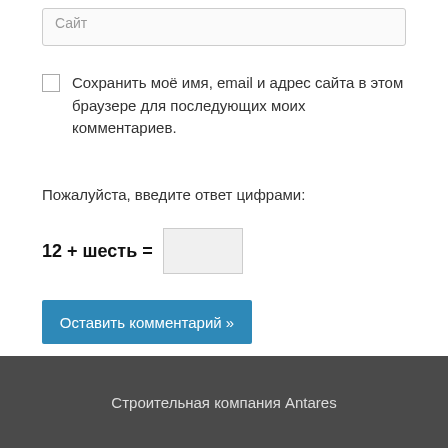Сайт
Сохранить моё имя, email и адрес сайта в этом браузере для последующих моих комментариев.
Пожалуйста, введите ответ цифрами:
Оставить комментарий »
Строительная компания Antares